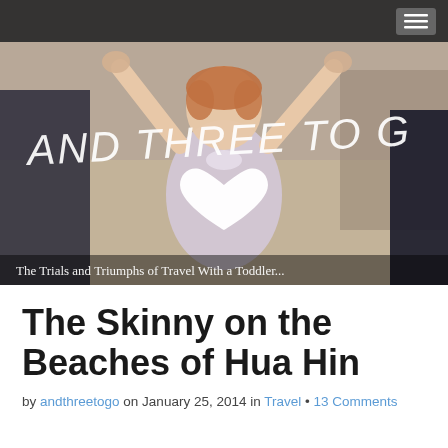[Figure (photo): Blog header photo showing a toddler girl in a plaid dress with arms raised, held by adults on either side. White handwritten-style text reads 'AND THREE TO G' across the top. A white heart shape overlays the center. Bottom text reads 'The Trials and Triumphs of Travel With a Toddler...' A dark navigation bar at the top contains a hamburger menu icon.]
The Skinny on the Beaches of Hua Hin
by andthreetogo on January 25, 2014 in Travel • 13 Comments